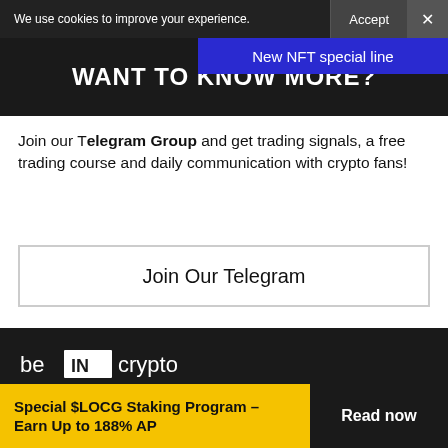We use cookies to improve your experience.   Accept  ×
New NFT special line
WANT TO KNOW MORE?
Join our Telegram Group and get trading signals, a free trading course and daily communication with crypto fans!
Join Our Telegram
[Figure (logo): beIN crypto logo — white text on dark background]
Learn more →
Remote Jobs
Special $LOCG Staking Program – Earn Up to 188% AP
Read now